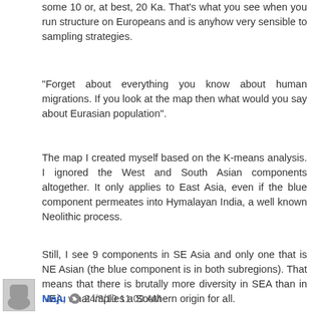some 10 or, at best, 20 Ka. That's what you see when you run structure on Europeans and is anyhow very sensible to sampling strategies.
"Forget about everything you know about human migrations. If you look at the map then what would you say about Eurasian population".
The map I created myself based on the K-means analysis. I ignored the West and South Asian components altogether. It only applies to East Asia, even if the blue component permeates into Hymalayan India, a well known Neolithic process.
Still, I see 9 components in SE Asia and only one that is NE Asian (the blue component is in both subregions). That means that there is brutally more diversity in SEA than in NEA, what implies a Southern origin for all.
Reply
Maju  24/3/10 11:09 AM